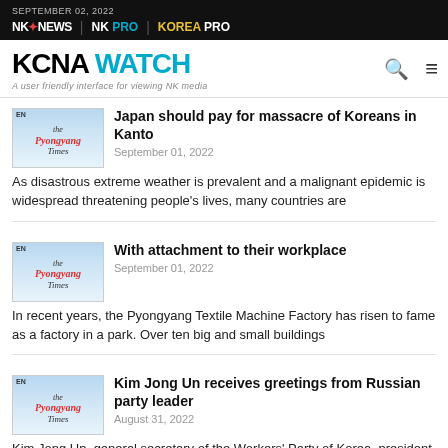SEPTEMBER 02, 2022 | NK NEWS | NK PRO | KOREA PRO
KCNA WATCH — A user friendly interface for viewing NK media
Japan should pay for massacre of Koreans in Kanto
September 01, 2022
As disastrous extreme weather is prevalent and a malignant epidemic is widespread threatening people's lives, many countries are
With attachment to their workplace
September 01, 2022
In recent years, the Pyongyang Textile Machine Factory has risen to fame as a factory in a park. Over ten big and small buildings
Kim Jong Un receives greetings from Russian party leader
August 31, 2022
Kim Jong Un, general secretary of the Workers' Party of Korea, president of the State Affairs of the DPRK and supreme commander